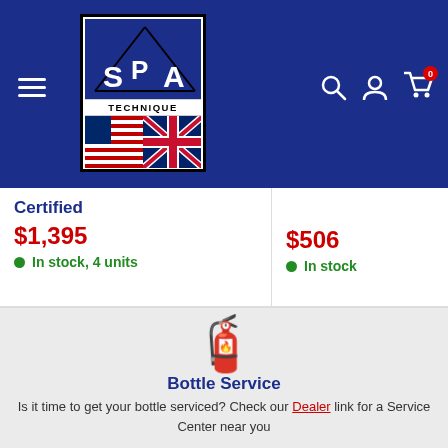[Figure (logo): SPA Technique logo with US and UK flags]
Certified
$1,395
In stock, 4 units
$506
In stock
[Figure (illustration): Red fire extinguisher icon]
Bottle Service
Is it time to get your bottle serviced? Check our Dealer link for a Service Center near you